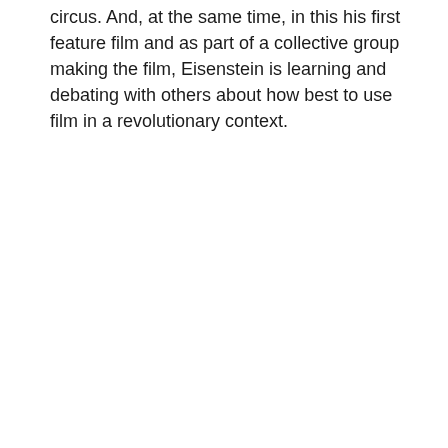circus. And, at the same time, in this his first feature film and as part of a collective group making the film, Eisenstein is learning and debating with others about how best to use film in a revolutionary context.